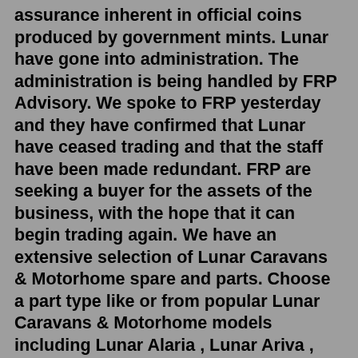assurance inherent in official coins produced by government mints. Lunar have gone into administration. The administration is being handled by FRP Advisory. We spoke to FRP yesterday and they have confirmed that Lunar have ceased trading and that the staff have been made redundant. FRP are seeking a buyer for the assets of the business, with the hope that it can begin trading again. We have an extensive selection of Lunar Caravans & Motorhome spare and parts. Choose a part type like or from popular Lunar Caravans & Motorhome models including Lunar Alaria , Lunar Ariva , Lunar Clubman , Lunar Conquest and Lunar Cosmos .Oct 25, 2017 · Lunar delta RI. Lunar delta RI - nice caravan overall, for the price the lack of self levelling and air con make it fall short of it's competitors. The worst part however is the doors below the sofas. Every time you move the caravan they need completely re-Hanging otherwise they don't line up. Lunar Delta TI stolen 24/08/20 at approx. 22.45 from Bungay area, Suffolk 2012 model, CRIS number...